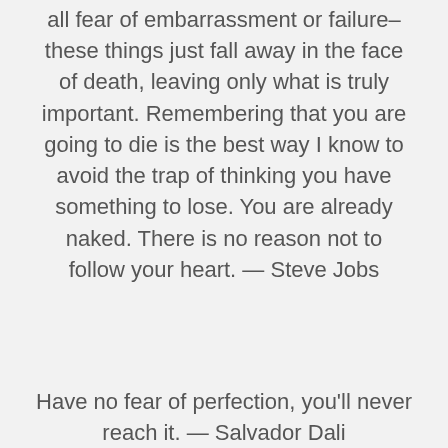all fear of embarrassment or failure–these things just fall away in the face of death, leaving only what is truly important. Remembering that you are going to die is the best way I know to avoid the trap of thinking you have something to lose. You are already naked. There is no reason not to follow your heart. — Steve Jobs
Have no fear of perfection, you'll never reach it. — Salvador Dali